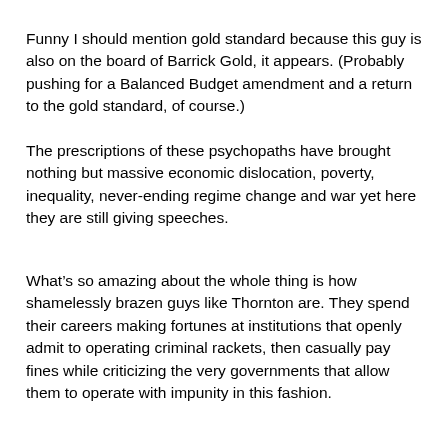Funny I should mention gold standard because this guy is also on the board of Barrick Gold, it appears. (Probably pushing for a Balanced Budget amendment and a return to the gold standard, of course.)
The prescriptions of these psychopaths have brought nothing but massive economic dislocation, poverty, inequality, never-ending regime change and war yet here they are still giving speeches.
What’s so amazing about the whole thing is how shamelessly brazen guys like Thornton are. They spend their careers making fortunes at institutions that openly admit to operating criminal rackets, then casually pay fines while criticizing the very governments that allow them to operate with impunity in this fashion.
These guys know nothing and subscribe only to their own,